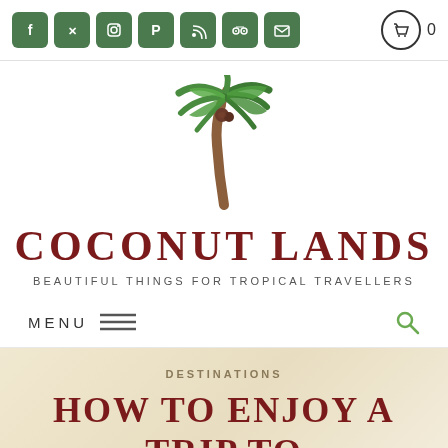[Figure (logo): Social media icon buttons (Facebook, Twitter, Instagram, Pinterest, RSS, TripAdvisor, Email) in green rounded squares, plus a cart icon with count 0]
[Figure (illustration): Coconut palm tree illustration with green palm fronds and brown trunk]
COCONUT LANDS
BEAUTIFUL THINGS FOR TROPICAL TRAVELLERS
MENU
DESTINATIONS
HOW TO ENJOY A TRIP TO